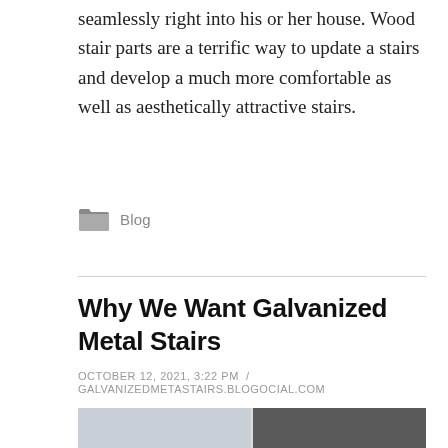seamlessly right into his or her house. Wood stair parts are a terrific way to update a stairs and develop a much more comfortable as well as aesthetically attractive stairs.
Blog
Why We Want Galvanized Metal Stairs
OCTOBER 12, 2021, 3:22 PM / GALVANIZEDMETASTAIRS.BLOGOCIAL.COM
[Figure (photo): Partial photo of stairs, split into two panels: left panel shows light-colored stair area, right panel shows dark metal stair structure]